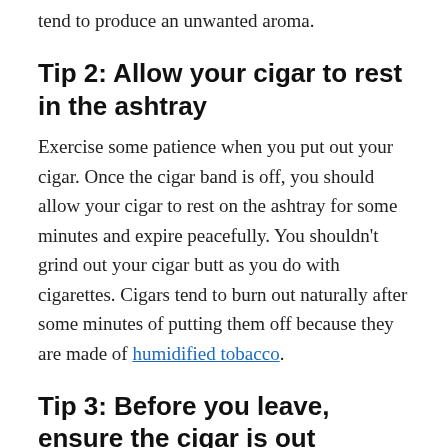tend to produce an unwanted aroma.
Tip 2: Allow your cigar to rest in the ashtray
Exercise some patience when you put out your cigar. Once the cigar band is off, you should allow your cigar to rest on the ashtray for some minutes and expire peacefully. You shouldn't grind out your cigar butt as you do with cigarettes. Cigars tend to burn out naturally after some minutes of putting them off because they are made of humidified tobacco.
Tip 3: Before you leave, ensure the cigar is out
Your cigar is more likely to roll off onto the table or